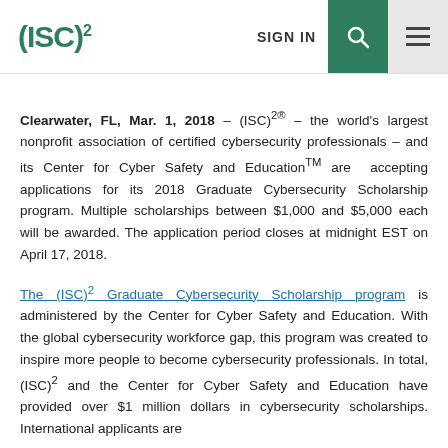(ISC)² | SIGN IN
Clearwater, FL, Mar. 1, 2018 – (ISC)²® – the world's largest nonprofit association of certified cybersecurity professionals – and its Center for Cyber Safety and Education™ are accepting applications for its 2018 Graduate Cybersecurity Scholarship program. Multiple scholarships between $1,000 and $5,000 each will be awarded. The application period closes at midnight EST on April 17, 2018.
The (ISC)² Graduate Cybersecurity Scholarship program is administered by the Center for Cyber Safety and Education. With the global cybersecurity workforce gap, this program was created to inspire more people to become cybersecurity professionals. In total, (ISC)² and the Center for Cyber Safety and Education have provided over $1 million dollars in cybersecurity scholarships. International applicants are